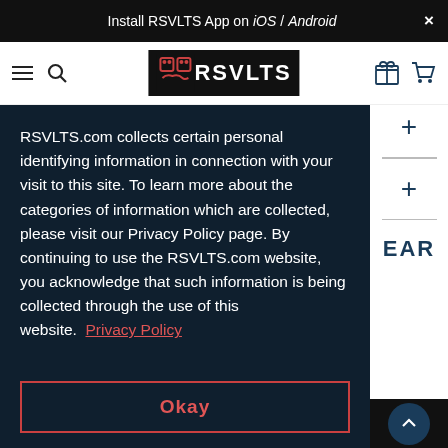Install RSVLTS App on iOS / Android ×
[Figure (screenshot): RSVLTS website navigation bar with hamburger menu, search icon, RSVLTS logo, gift icon, and cart icon]
RSVLTS.com collects certain personal identifying information in connection with your visit to this site. To learn more about the categories of information which are collected, please visit our Privacy Policy page. By continuing to use the RSVLTS.com website, you acknowledge that such information is being collected through the use of this website.  Privacy Policy
Okay